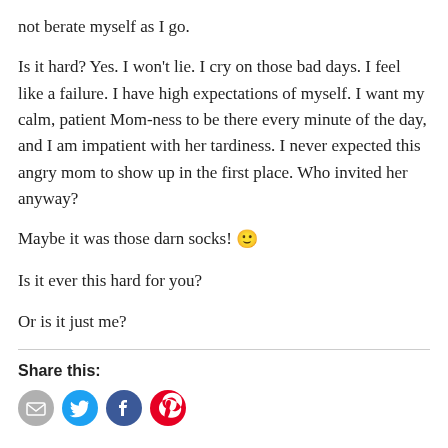not berate myself as I go.
Is it hard? Yes. I won't lie. I cry on those bad days. I feel like a failure. I have high expectations of myself. I want my calm, patient Mom-ness to be there every minute of the day, and I am impatient with her tardiness. I never expected this angry mom to show up in the first place. Who invited her anyway?
Maybe it was those darn socks! 🙂
Is it ever this hard for you?
Or is it just me?
Share this:
[Figure (illustration): Social sharing icons: email (grey circle), Twitter (cyan/blue circle), Facebook (blue circle), Pinterest (red circle)]